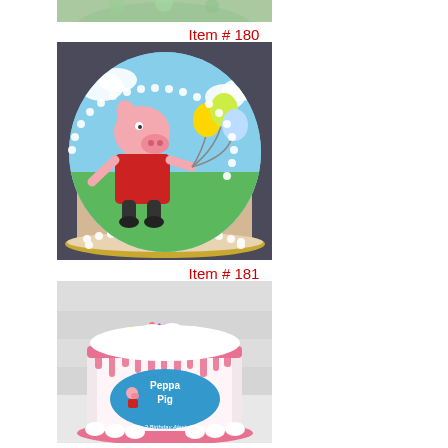[Figure (photo): Partial view of a decorated cake at the top of the page (cropped)]
Item # 180
[Figure (photo): Round cake decorated with a Peppa Pig character holding colorful balloons on a green and blue fondant background, with white pearl border piping]
Item # 181
[Figure (photo): Tall cylindrical cake with pink drip decoration, colorful sprinkles on top, Peppa Pig topper, and 'Peppa Pig' and 'Happy 3rd Birthday Alexis Rose' writing on a pink glitter base]